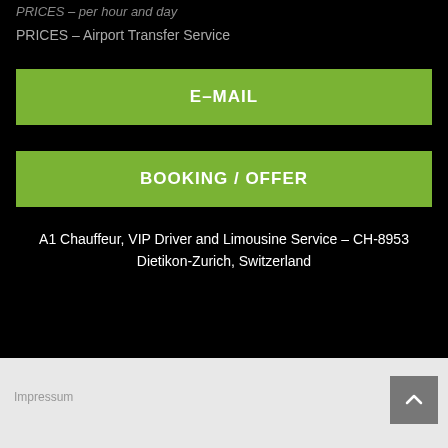PRICES – per hour and day
PRICES – Airport Transfer Service
E-MAIL
BOOKING / OFFER
A1 Chauffeur, VIP Driver and Limousine Service – CH-8953 Dietikon-Zurich, Switzerland
Impressum